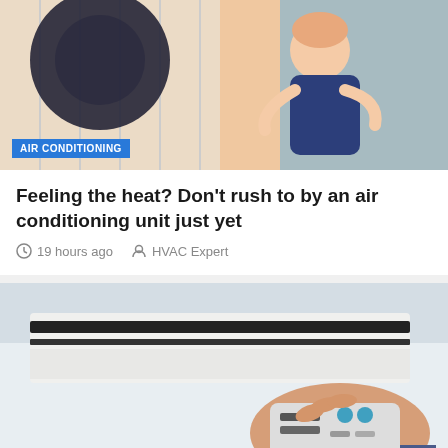[Figure (illustration): Illustration of a person with a fan and air conditioning unit, anime/cartoon style with blue and peach tones]
AIR CONDITIONING
Feeling the heat? Don't rush to by an air conditioning unit just yet
19 hours ago   HVAC Expert
[Figure (photo): Photo of a hand holding an air conditioning remote control pointed at a wall-mounted AC unit]
AIR CONDITIONING
Air-conditioning limits introduced for public